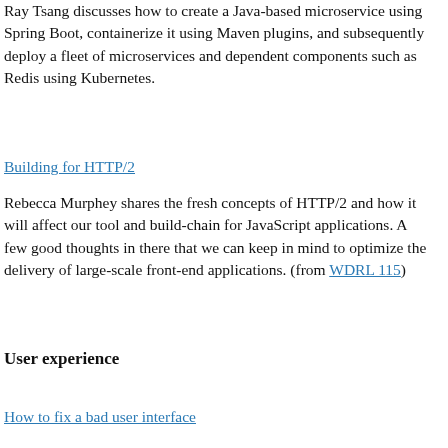Ray Tsang discusses how to create a Java-based microservice using Spring Boot, containerize it using Maven plugins, and subsequently deploy a fleet of microservices and dependent components such as Redis using Kubernetes.
Building for HTTP/2
Rebecca Murphey shares the fresh concepts of HTTP/2 and how it will affect our tool and build-chain for JavaScript applications. A few good thoughts in there that we can keep in mind to optimize the delivery of large-scale front-end applications. (from WDRL 115)
User experience
How to fix a bad user interface